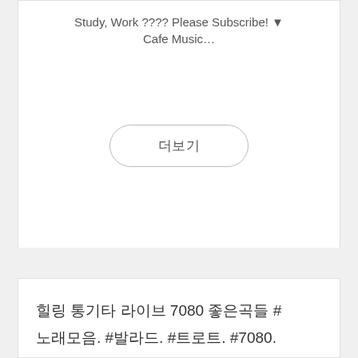Study, Work ???? Please Subscribe! ▼
Cafe Music…
더보기
힐링 통기타 라이브 7080 좋은곡들 #노래모음. #발라드. #트로트. #7080.